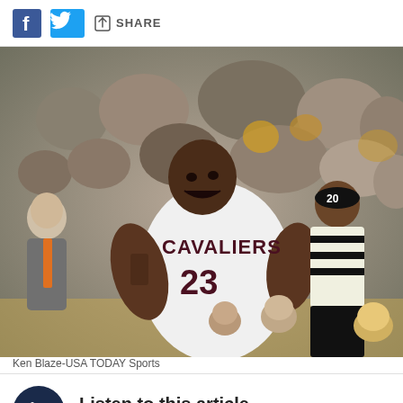SHARE
[Figure (photo): LeBron James wearing Cleveland Cavaliers jersey number 23 yelling in apparent frustration at a referee wearing number 20, with crowd and coaching staff visible in the background during an NBA game.]
Ken Blaze-USA TODAY Sports
Listen to this article